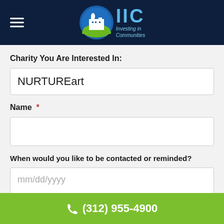[Figure (logo): IIC Investing in Communities logo with blue circle containing white building/city silhouette on green hill, with IIC text in blue and 'Investing in Communities' subtitle]
Charity You Are Interested In:
NURTUREart
Name *
When would you like to be contacted or reminded?
mm/dd/yyyy
(312) 955-4900